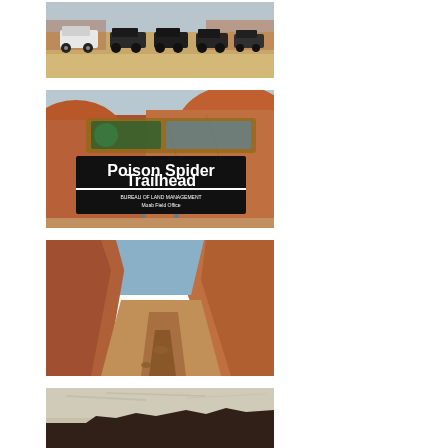[Figure (photo): Several Jeep Wrangler vehicles parked in a sandy desert area with red sandstone formations in the background]
[Figure (photo): Poison Spider Trailhead sign by Bureau of Land Management, Moab Field Office, set against red rock canyon walls]
[Figure (photo): Red dirt trail winding through a narrow red rock canyon with blue sky above]
[Figure (photo): Sunset or dusk view of red rock canyon silhouettes against a pale sky]